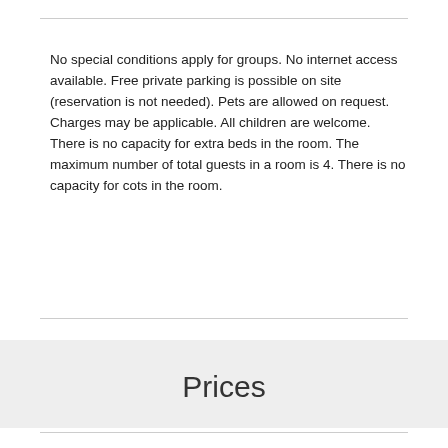No special conditions apply for groups. No internet access available. Free private parking is possible on site (reservation is not needed). Pets are allowed on request. Charges may be applicable. All children are welcome. There is no capacity for extra beds in the room. The maximum number of total guests in a room is 4. There is no capacity for cots in the room.
Prices